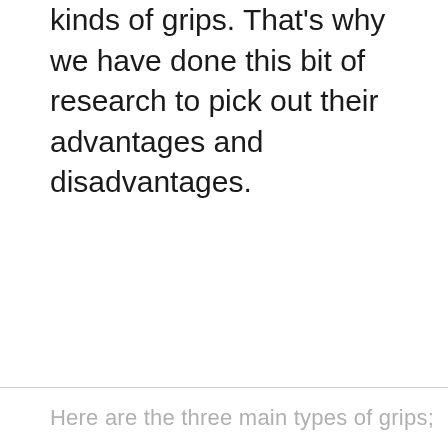kinds of grips. That's why we have done this bit of research to pick out their advantages and disadvantages.
Here are the three main types of grips;